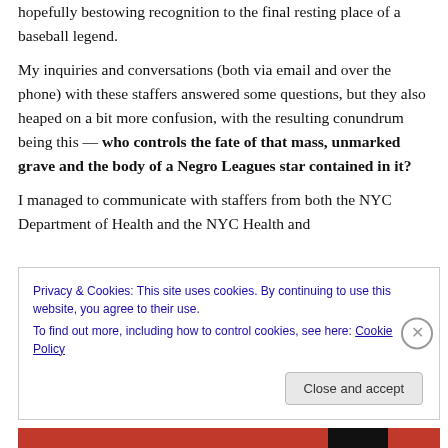hopefully bestowing recognition to the final resting place of a baseball legend.
My inquiries and conversations (both via email and over the phone) with these staffers answered some questions, but they also heaped on a bit more confusion, with the resulting conundrum being this — who controls the fate of that mass, unmarked grave and the body of a Negro Leagues star contained in it?
I managed to communicate with staffers from both the NYC Department of Health and the NYC Health and
Privacy & Cookies: This site uses cookies. By continuing to use this website, you agree to their use.
To find out more, including how to control cookies, see here: Cookie Policy
Close and accept